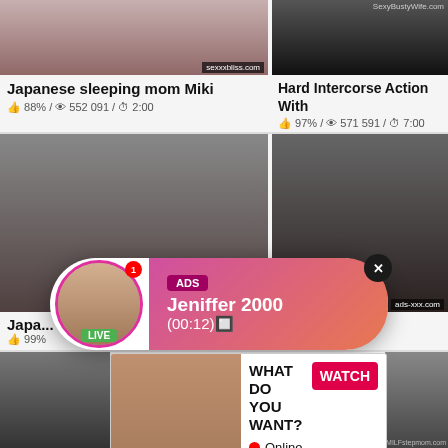[Figure (screenshot): Thumbnail of Japanese sleeping mom Miki video with sexxxbliss.com watermark]
[Figure (screenshot): Thumbnail of Hard Intercorse Action With video with SexyBustyWife.com watermark]
Japanese sleeping mom Miki
👍 88% / 👁 552 091 / ⏱ 2:00
Hard Intercorse Action With
👍 97% / 👁 571 591 / ⏱ 7:00
[Figure (screenshot): Middle left video thumbnail]
[Figure (screenshot): Middle right video thumbnail with ads-xxx.com watermark]
[Figure (infographic): Live popup ad: avatar with LIVE badge, notification badge, pink gradient bubble with ADS tag, name Jeniffer 2000, time (00:12), close X button]
Japa...
👍 99%
[Figure (infographic): Bottom popup ad with image left and right panel: WHAT DO YOU WANT? WATCH button, Online indicator, three thumbnails, text 'Cumming, ass fucking, squirt or...' • ADS, close X]
[Figure (screenshot): Bottom left video thumbnail]
[Figure (screenshot): Bottom right video thumbnail with MILFstepmom.com watermark]